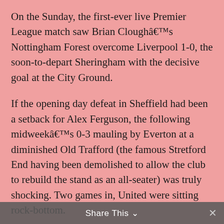On the Sunday, the first-ever live Premier League match saw Brian Cloughâ€™s Nottingham Forest overcome Liverpool 1-0, the soon-to-depart Sheringham with the decisive goal at the City Ground.
If the opening day defeat in Sheffield had been a setback for Alex Ferguson, the following midweekâ€™s 0-3 mauling by Everton at a diminished Old Trafford (the famous Stretford End having been demolished to allow the club to rebuild the stand as an all-seater) was truly shocking. Two games in, United were sitting rock-bottom.
George Graham wasnâ€™t sitting too comfortably either, his Gunners the victims of a late Shearer winner at Ewood Park. Villa and Leeds had fought out a 1-1 draw in the Midlands, but it was Mike Walkerâ€™s Norwich City who were setting the early pace. They
Share This